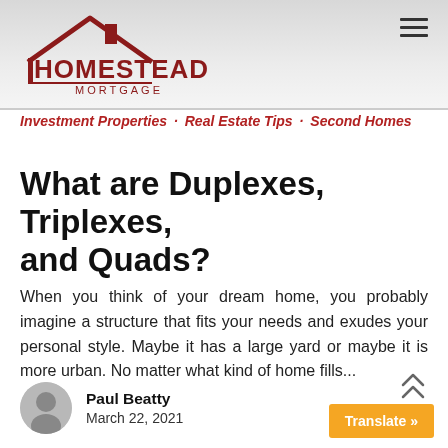[Figure (logo): Homestead Mortgage logo with house/roof graphic in dark red and text 'HOMESTEAD MORTGAGE']
Investment Properties · Real Estate Tips · Second Homes
What are Duplexes, Triplexes, and Quads?
When you think of your dream home, you probably imagine a structure that fits your needs and exudes your personal style. Maybe it has a large yard or maybe it is more urban. No matter what kind of home fills...
Paul Beatty
March 22, 2021